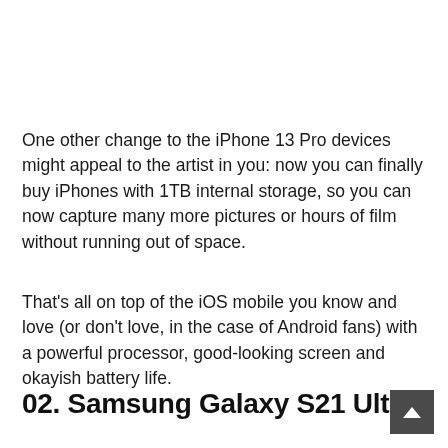One other change to the iPhone 13 Pro devices might appeal to the artist in you: now you can finally buy iPhones with 1TB internal storage, so you can now capture many more pictures or hours of film without running out of space.
That's all on top of the iOS mobile you know and love (or don't love, in the case of Android fans) with a powerful processor, good-looking screen and okayish battery life.
02. Samsung Galaxy S21 Ultra